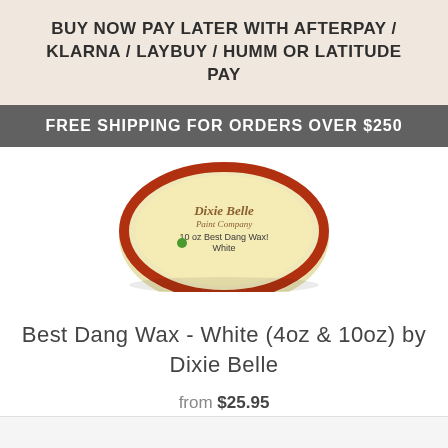BUY NOW PAY LATER WITH AFTERPAY / KLARNA / LAYBUY / HUMM OR LATITUDE PAY
FREE SHIPPING FOR ORDERS OVER $250
[Figure (photo): Top-down view of a round yellow tin of Dixie Belle Paint Company 10 oz Best Dang Wax in White, with a red circular border on the lid]
Best Dang Wax - White (4oz & 10oz) by Dixie Belle
from $25.95